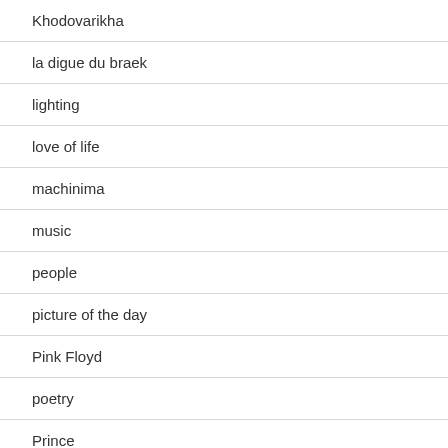Khodovarikha
la digue du braek
lighting
love of life
machinima
music
people
picture of the day
Pink Floyd
poetry
Prince